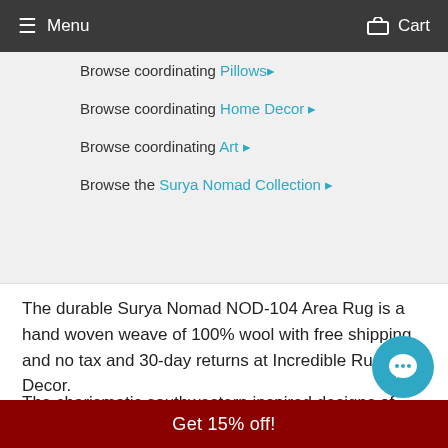Menu   Cart
Browse coordinating Pillows▶
Browse coordinating Home Decor▶
Browse coordinating Art▶
Browse the Surya Nomad Collection▶
The durable Surya Nomad NOD-104 Area Rug is a hand woven weave of 100% wool with free shipping and no tax and 30-day returns at Incredible Rugs and Decor.
The charismatic southwestern inspired designs of each of the pieces found within our Nomad Collection admirably blend time-honored motifs with fashion forward trends. The meticulously woven construction of these pieces bo… durability and will provide natural charm into your…
Get 15% off!